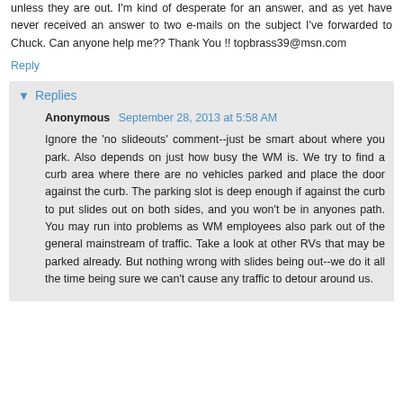unless they are out. I'm kind of desperate for an answer, and as yet have never received an answer to two e-mails on the subject I've forwarded to Chuck. Can anyone help me?? Thank You !! topbrass39@msn.com
Reply
Replies
Anonymous  September 28, 2013 at 5:58 AM
Ignore the 'no slideouts' comment--just be smart about where you park. Also depends on just how busy the WM is. We try to find a curb area where there are no vehicles parked and place the door against the curb. The parking slot is deep enough if against the curb to put slides out on both sides, and you won't be in anyones path. You may run into problems as WM employees also park out of the general mainstream of traffic. Take a look at other RVs that may be parked already. But nothing wrong with slides being out--we do it all the time being sure we can't cause any traffic to detour around us.